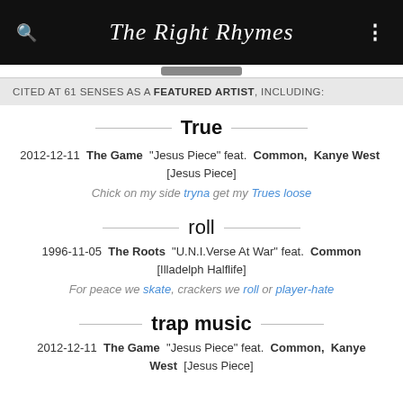The Right Rhymes
CITED AT 61 SENSES AS A FEATURED ARTIST, INCLUDING:
True
2012-12-11  The Game  "Jesus Piece" feat.  Common,  Kanye West  [Jesus Piece]
Chick on my side tryna get my Trues loose
roll
1996-11-05  The Roots  "U.N.I.Verse At War" feat.  Common  [Illadelph Halflife]
For peace we skate, crackers we roll or player-hate
trap music
2012-12-11  The Game  "Jesus Piece" feat.  Common,  Kanye West  [Jesus Piece]